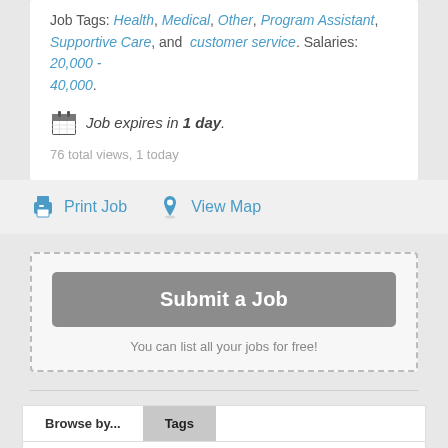Job Tags: Health, Medical, Other, Program Assistant, Supportive Care, and customer service. Salaries: 20,000 - 40,000.
Job expires in 1 day.
76 total views, 1 today
Print Job   View Map
Submit a Job
You can list all your jobs for free!
Browse by...   Tags
Job Type
Job Salary